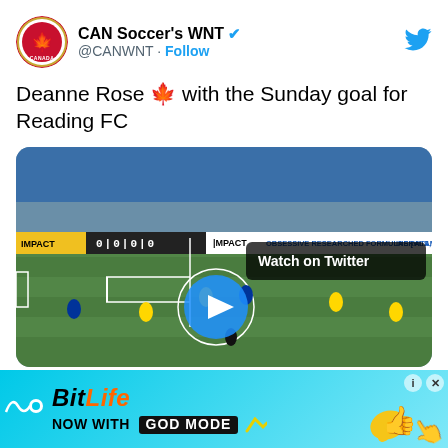CAN Soccer's WNT @CANWNT · Follow
Deanne Rose 🍁 with the Sunday goal for Reading FC
[Figure (screenshot): Video thumbnail of a soccer match with a play button overlay and 'Watch on Twitter' label. Shows players on a blue-seated stadium pitch with advertising boards reading IMPACT and OBSESSIVE RESEARCHED FORMULAS [VITAMINS, MINERALS, SUPPLEMENTS].]
3:21 PM · Nov 7, 2021
[Figure (screenshot): Advertisement banner for BitLife app: cyan/blue gradient background with text 'BitLife NOW WITH GOD MODE' and cartoon hand/thumbs-up graphics. Includes close and info buttons.]